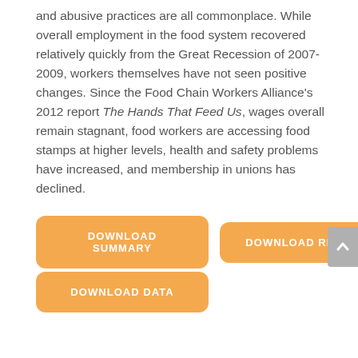and abusive practices are all commonplace. While overall employment in the food system recovered relatively quickly from the Great Recession of 2007-2009, workers themselves have not seen positive changes. Since the Food Chain Workers Alliance's 2012 report The Hands That Feed Us, wages overall remain stagnant, food workers are accessing food stamps at higher levels, health and safety problems have increased, and membership in unions has declined.
DOWNLOAD SUMMARY
DOWNLOAD REPORT
DOWNLOAD DATA